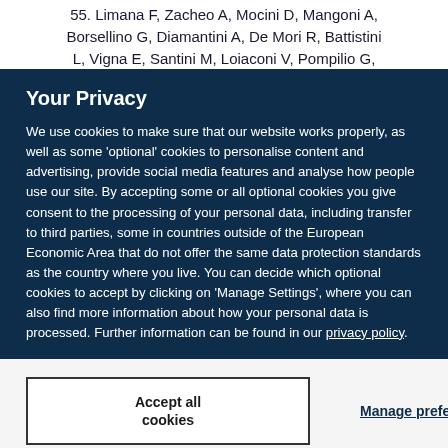55. Limana F, Zacheo A, Mocini D, Mangoni A, Borsellino G, Diamantini A, De Mori R, Battistini L, Vigna E, Santini M, Loiaconi V, Pompilio G,
Your Privacy
We use cookies to make sure that our website works properly, as well as some 'optional' cookies to personalise content and advertising, provide social media features and analyse how people use our site. By accepting some or all optional cookies you give consent to the processing of your personal data, including transfer to third parties, some in countries outside of the European Economic Area that do not offer the same data protection standards as the country where you live. You can decide which optional cookies to accept by clicking on 'Manage Settings', where you can also find more information about how your personal data is processed. Further information can be found in our privacy policy.
Accept all cookies
Manage preferences